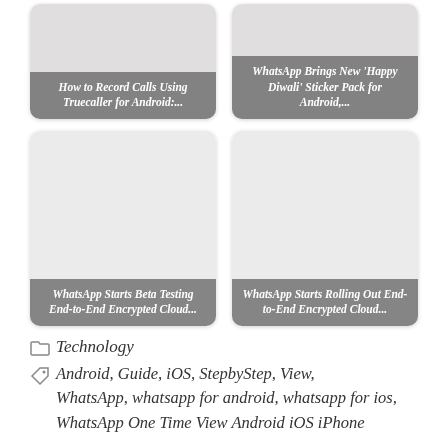[Figure (screenshot): Card thumbnail: How to Record Calls Using Truecaller for Android:...]
[Figure (screenshot): Card thumbnail: WhatsApp Brings New 'Happy Diwali' Sticker Pack for Android,...]
[Figure (screenshot): Card thumbnail: WhatsApp Starts Beta Testing End-to-End Encrypted Cloud...]
[Figure (screenshot): Card thumbnail: WhatsApp Starts Rolling Out End-to-End Encrypted Cloud...]
Technology
Android, Guide, iOS, StepbyStep, View, WhatsApp, whatsapp for android, whatsapp for ios, WhatsApp One Time View Android iOS iPhone